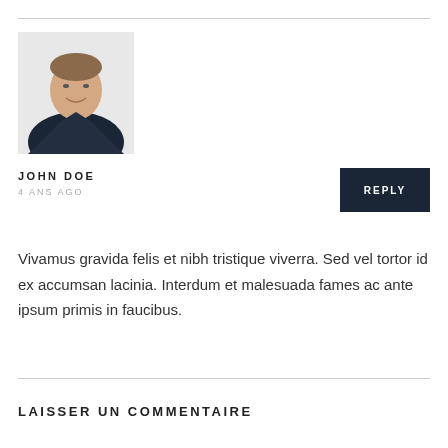[Figure (photo): Headshot of a man in a dark suit and tie, smiling, white background]
JOHN DOE
4 ANS AGO
REPLY
Vivamus gravida felis et nibh tristique viverra. Sed vel tortor id ex accumsan lacinia. Interdum et malesuada fames ac ante ipsum primis in faucibus.
LAISSER UN COMMENTAIRE